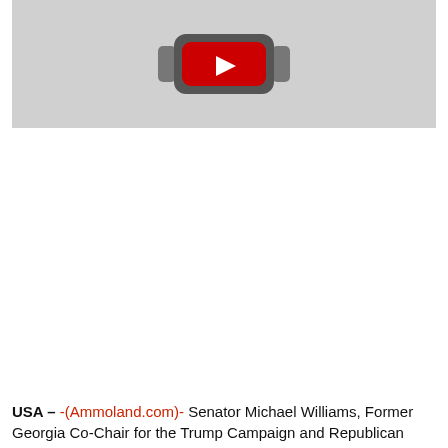[Figure (screenshot): YouTube video thumbnail placeholder showing YouTube logo icon (red rectangle with white play button) centered on a light gray background]
USA – -(Ammoland.com)- Senator Michael Williams, Former Georgia Co-Chair for the Trump Campaign and Republican